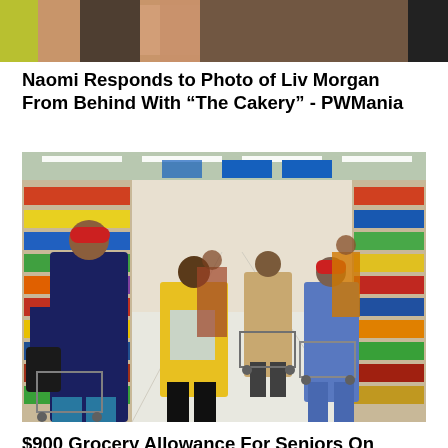[Figure (photo): Partial photo cropped at top, showing close-up of a person from behind, dark background]
Naomi Responds to Photo of Liv Morgan From Behind With “The Cakery” - PWMania
[Figure (photo): Interior of a Walmart store with shoppers pushing carts down a wide aisle, shelves stocked with products on both sides, fluorescent lighting overhead]
$900 Grocery Allowance For Seniors On Medicare